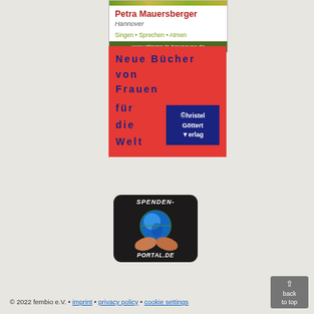[Figure (illustration): Advertisement card for Petra Mauersberger, voice teacher in Hannover. Shows name in red bold, city in italic, tagline 'Singen • Sprechen • Atmen' in olive green, and website www.stimme-in-bewegung.de on dark green bar.]
[Figure (illustration): Red advertisement banner for Christel Göttert Verlag. Text 'Neue Bücher von Frauen für die Welt' in dark blue bold lettering with Christel Göttert Verlag logo in dark blue box on right side.]
[Figure (illustration): Dark rounded square badge for Spenden-Portal.de donation portal website, showing globe being held by hands with text 'SPENDEN-PORTAL.DE' in white stylized font.]
© 2022 fembio e.V. • imprint • privacy policy • cookie settings
back to top